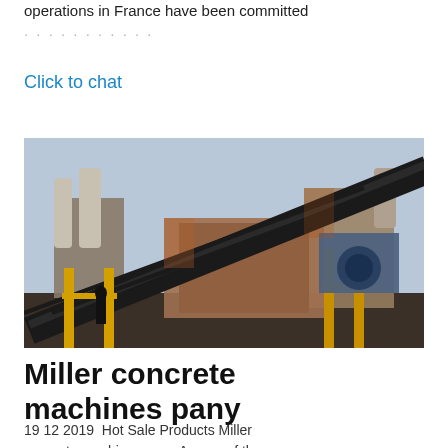operations in France have been committed
Click to chat
[Figure (photo): Industrial conveyor belt machinery and processing equipment at an outdoor site, with large metal structures, conveyor belts, yellow supports, and a worker visible at the bottom left.]
Miller concrete machines pany
19 12 2019  Hot Sale Products Miller concrete machines pany As one of the